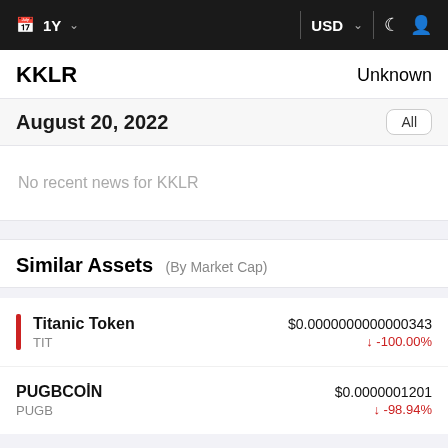1Y  USD
KKLR    Unknown
August 20, 2022    All
No recent news for KKLR
Similar Assets (By Market Cap)
| Asset | Ticker | Price | Change |
| --- | --- | --- | --- |
| Titanic Token | TIT | $0.0000000000000343 | ▼ -100.00% |
| PUGBCOiN | PUGB | $0.0000001201 | ▼ -98.94% |